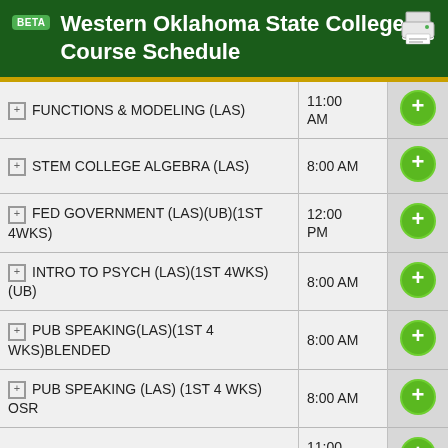Western Oklahoma State College: Course Schedule
| Course | Time |  |
| --- | --- | --- |
| FUNCTIONS & MODELING (LAS) | 11:00 AM | + |
| STEM COLLEGE ALGEBRA (LAS) | 8:00 AM | + |
| FED GOVERNMENT (LAS)(UB)(1ST 4WKS) | 12:00 PM | + |
| INTRO TO PSYCH (LAS)(1ST 4WKS) (UB) | 8:00 AM | + |
| PUB SPEAKING(LAS)(1ST 4 WKS)BLENDED | 8:00 AM | + |
| PUB SPEAKING (LAS) (1ST 4 WKS) OSR | 8:00 AM | + |
| FINANCIAL ACCOUNTING (LAS) | 11:00 AM | + |
| MANAGERIAL ACCOUNTING (LAS) | 10:00 | + |